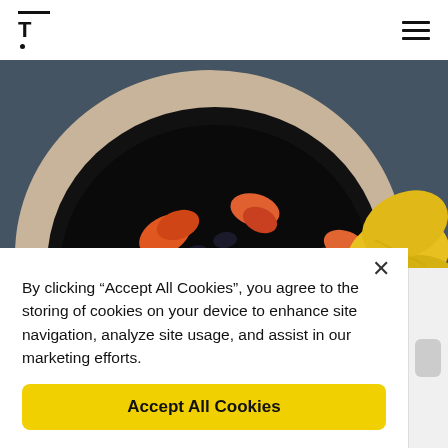T (logo with decorative top bar and dot) | hamburger menu icon
[Figure (photo): A clay bowl filled with black ceviche or squid ink dish, topped with orange flower petals and diced white ingredients. Yellow potato chips/crisps visible on the right side. Dark slate blue background.]
By clicking “Accept All Cookies”, you agree to the storing of cookies on your device to enhance site navigation, analyze site usage, and assist in our marketing efforts.
Accept All Cookies